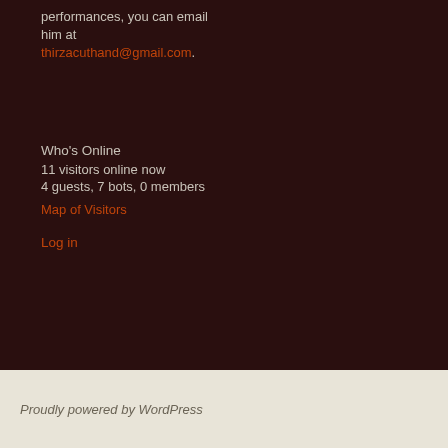performances, you can email him at thirzacuthand@gmail.com.
Who's Online
11 visitors online now
4 guests, 7 bots, 0 members
Map of Visitors
Log in
Proudly powered by WordPress